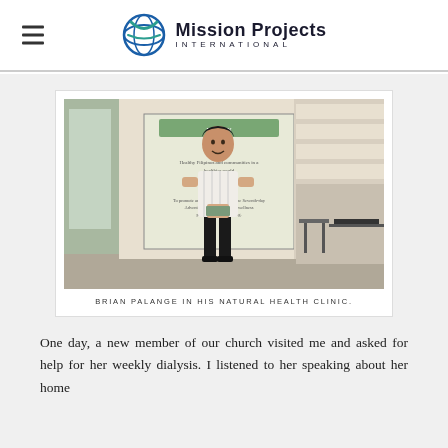Mission Projects INTERNATIONAL
[Figure (photo): Brian Palange standing in his natural health clinic in front of a banner displaying Vision and Mission statements, with shelves and equipment visible in the background.]
BRIAN PALANGE IN HIS NATURAL HEALTH CLINIC.
One day, a new member of our church visited me and asked for help for her weekly dialysis. I listened to her speaking about her home